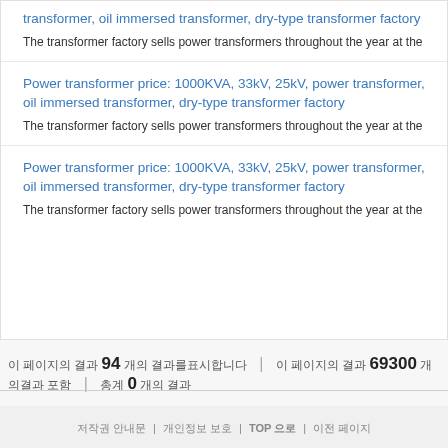transformer, oil immersed transformer, dry-type transformer factory
The transformer factory sells power transformers throughout the year at the
Power transformer price: 1000KVA, 33kV, 25kV, power transformer, oil immersed transformer, dry-type transformer factory
The transformer factory sells power transformers throughout the year at the
Power transformer price: 1000KVA, 33kV, 25kV, power transformer, oil immersed transformer, dry-type transformer factory
The transformer factory sells power transformers throughout the year at the
이 페이지의 결과 94 개의 결과를표시합니다   이 페이지의 결과 69300 개의결과 포함   총계 0 개의 결과
저작권 안내문 | 개인정보 보호 | TOP 으로 | 이전 페이지